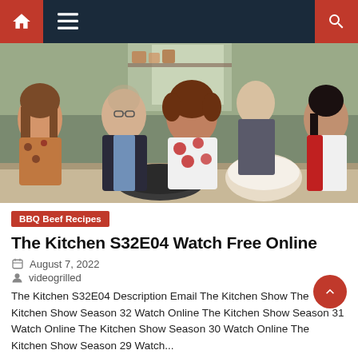Navigation bar with home, menu, and search icons
[Figure (photo): Group of five people — three women and two men — posing and smiling in a kitchen studio set with cooking equipment on the counter]
BBQ Beef Recipes
The Kitchen S32E04 Watch Free Online
August 7, 2022
videogrilled
The Kitchen S32E04 Description Email The Kitchen Show The Kitchen Show Season 32 Watch Online The Kitchen Show Season 31 Watch Online The Kitchen Show Season 30 Watch Online The Kitchen Show Season 29 Watch...